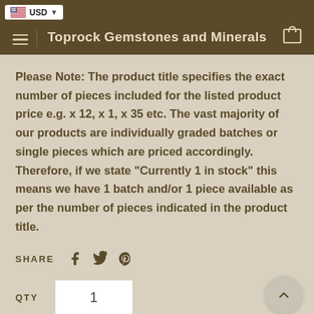Toprock Gemstones and Minerals
Please Note: The product title specifies the exact number of pieces included for the listed product price e.g. x 12, x 1, x 35 etc. The vast majority of our products are individually graded batches or single pieces which are priced accordingly. Therefore, if we state “Currently 1 in stock” this means we have 1 batch and/or 1 piece available as per the number of pieces indicated in the product title.
SHARE
QTY  1